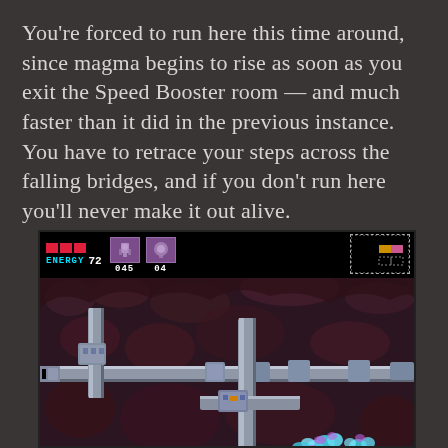You're forced to run here this time around, since magma begins to rise as soon as you exit the Speed Booster room — and much faster than it did in the previous instance. You have to retrace your steps across the falling bridges, and if you don't run here you'll never make it out alive.
[Figure (screenshot): Super Metroid gameplay screenshot showing a cavern level with lava/magma terrain. The HUD at the top shows ENERGY 72, two weapon slots with counts 045 and 04, and a small map in the top-right corner with dotted border. The game scene shows metallic platforms over a rocky red-purple cave background with robotic/mechanical structures and a character (Samus) visible at the bottom.]